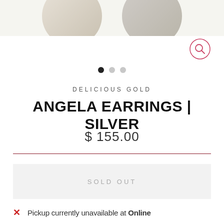[Figure (photo): Two circular product images of silver earrings shown at the top, partially cropped]
[Figure (other): Search icon (magnifying glass) in a pink circle outline, top right]
[Figure (other): Three dot pagination indicators: first dot solid black, second and third light gray]
DELICIOUS GOLD
ANGELA EARRINGS | SILVER
$ 155.00
SOLD OUT
Pickup currently unavailable at Online